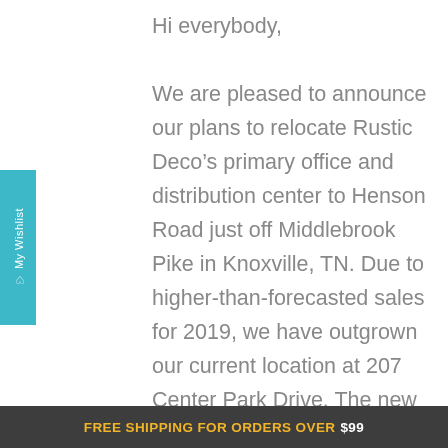Hi everybody,
We are pleased to announce our plans to relocate Rustic Deco’s primary office and distribution center to Henson Road just off Middlebrook Pike in Knoxville, TN. Due to higher-than-forecasted sales for 2019, we have outgrown our current location at 207 Center Park Drive. The new location will allow Rustic Deco to not only address the going expectations for expeditious shipping, it will also give us more control over quality and customization options
FREE SHIPPING FOR ORDERS OVER $99